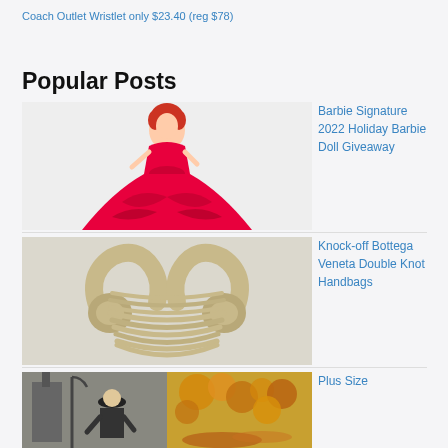Coach Outlet Wristlet only $23.40 (reg $78)
Popular Posts
[Figure (photo): Barbie doll in red ballgown dress]
Barbie Signature 2022 Holiday Barbie Doll Giveaway
[Figure (photo): Beige woven double knot handbag]
Knock-off Bottega Veneta Double Knot Handbags
[Figure (photo): Person in hat outdoors with autumn leaves]
Plus Size